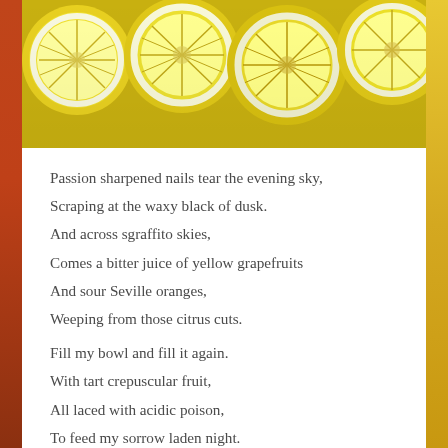[Figure (photo): Close-up photo of sliced yellow lemons/citrus fruits arranged in a row, viewed from above, showing the cross-section with white pith and yellow flesh and rind.]
Passion sharpened nails tear the evening sky,
Scraping at the waxy black of dusk.
And across sgraffito skies,
Comes a bitter juice of yellow grapefruits
And sour Seville oranges,
Weeping from those citrus cuts.

Fill my bowl and fill it again.
With tart crepuscular fruit,
All laced with acidic poison,
To feed my sorrow laden night.

Impatience breaks the hold of darkness.
Chased away by dawn's own bullwhip.